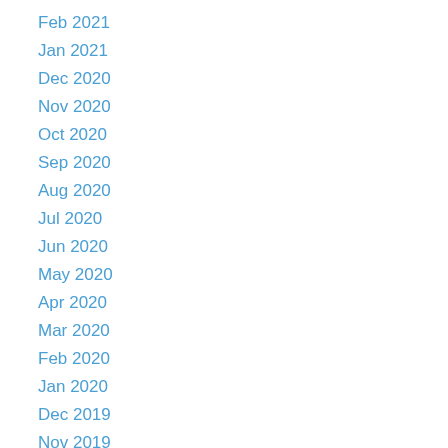Feb 2021
Jan 2021
Dec 2020
Nov 2020
Oct 2020
Sep 2020
Aug 2020
Jul 2020
Jun 2020
May 2020
Apr 2020
Mar 2020
Feb 2020
Jan 2020
Dec 2019
Nov 2019
Oct 2019
Sep 2019
Aug 2019
Jul 2019